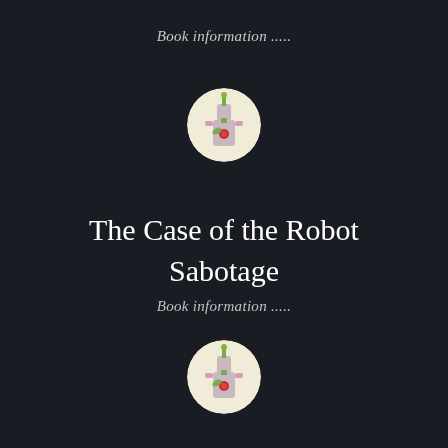Book information .....
[Figure (illustration): Small circular illustration showing a stylized robot or figure with pink and green tones, red accent, on a light background]
The Case of the Robot Sabotage
Book information .....
[Figure (illustration): Small circular illustration showing a stylized robot or figure with pink and green tones, red accent, on a light background]